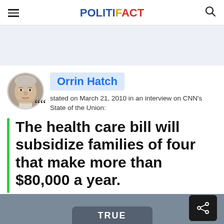POLITIFACT
[Figure (photo): Portrait photo of Orrin Hatch, elderly man with gray hair]
Orrin Hatch
stated on March 21, 2010 in an interview on CNN's State of the Union:
The health care bill will subsidize families of four that make more than $80,000 a year.
[Figure (other): Gray bottom bar with TRUE badge and share button]